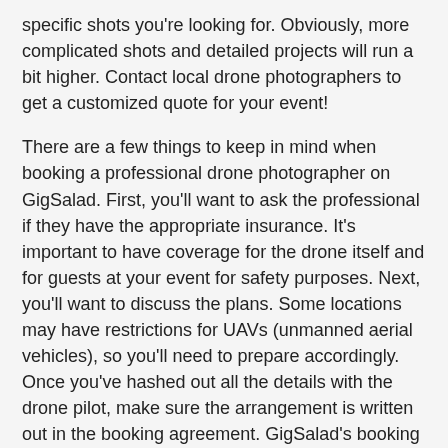specific shots you're looking for. Obviously, more complicated shots and detailed projects will run a bit higher. Contact local drone photographers to get a customized quote for your event!
There are a few things to keep in mind when booking a professional drone photographer on GigSalad. First, you'll want to ask the professional if they have the appropriate insurance. It's important to have coverage for the drone itself and for guests at your event for safety purposes. Next, you'll want to discuss the plans. Some locations may have restrictions for UAVs (unmanned aerial vehicles), so you'll need to prepare accordingly. Once you've hashed out all the details with the drone pilot, make sure the arrangement is written out in the booking agreement. GigSalad's booking system makes it simple to confirm the agreement and make a full payment all in one step, so you can rest easy knowing you'll get the best photos of your event! Search for Drone Photographers in Romulus, Michigan above.
Please note that these Drone Photographers may also travel to